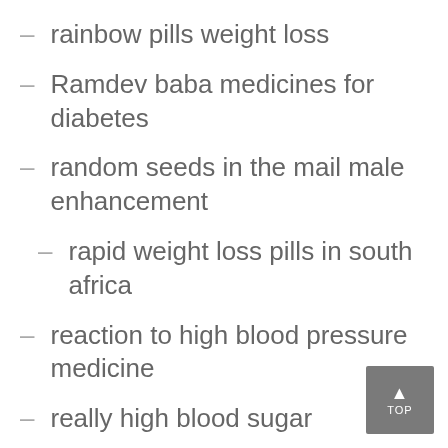rainbow pills weight loss
Ramdev baba medicines for diabetes
random seeds in the mail male enhancement
rapid weight loss pills in south africa
reaction to high blood pressure medicine
really high blood sugar
reduce blood sugar naturally
reduce blood sugar without insulin
reductil pills for weight loss